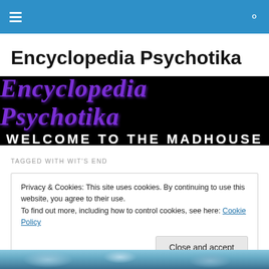Encyclopedia Psychotika – navigation bar
Encyclopedia Psychotika
[Figure (illustration): Encyclopedia Psychotika banner image with purple cursive script title and white 'WELCOME TO THE MADHOUSE' subtitle on black background]
TAGGED WITH WIT'S END
Privacy & Cookies: This site uses cookies. By continuing to use this website, you agree to their use.
To find out more, including how to control cookies, see here: Cookie Policy
Close and accept
[Figure (photo): Partial image at bottom of page showing blue-toned animal or nature photograph]